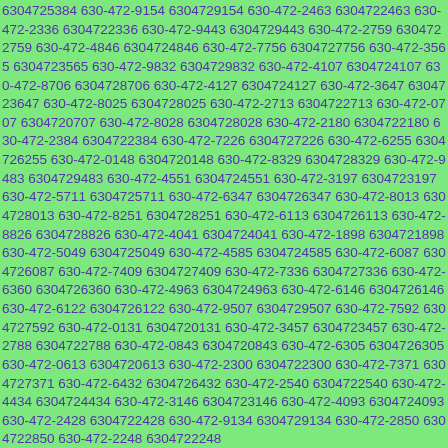6304725384 630-472-9154 6304729154 630-472-2463 6304722463 630-472-2336 6304722336 630-472-9443 6304729443 630-472-2759 6304722759 630-472-4846 6304724846 630-472-7756 6304727756 630-472-3565 6304723565 630-472-9832 6304729832 630-472-4107 6304724107 630-472-8706 6304728706 630-472-4127 6304724127 630-472-3647 6304723647 630-472-8025 6304728025 630-472-2713 6304722713 630-472-0707 6304720707 630-472-8028 6304728028 630-472-2180 6304722180 630-472-2384 6304722384 630-472-7226 6304727226 630-472-6255 6304726255 630-472-0148 6304720148 630-472-8329 6304728329 630-472-9483 6304729483 630-472-4551 6304724551 630-472-3197 6304723197 630-472-5711 6304725711 630-472-6347 6304726347 630-472-8013 6304728013 630-472-8251 6304728251 630-472-6113 6304726113 630-472-8826 6304728826 630-472-4041 6304724041 630-472-1898 6304721898 630-472-5049 6304725049 630-472-4585 6304724585 630-472-6087 6304726087 630-472-7409 6304727409 630-472-7336 6304727336 630-472-6360 6304726360 630-472-4963 6304724963 630-472-6146 6304726146 630-472-6122 6304726122 630-472-9507 6304729507 630-472-7592 6304727592 630-472-0131 6304720131 630-472-3457 6304723457 630-472-2788 6304722788 630-472-0843 6304720843 630-472-6305 6304726305 630-472-0613 6304720613 630-472-2300 6304722300 630-472-7371 6304727371 630-472-6432 6304726432 630-472-2540 6304722540 630-472-4434 6304724434 630-472-3146 6304723146 630-472-4093 6304724093 630-472-2428 6304722428 630-472-9134 6304729134 630-472-2850 6304722850 630-472-2248 6304722248